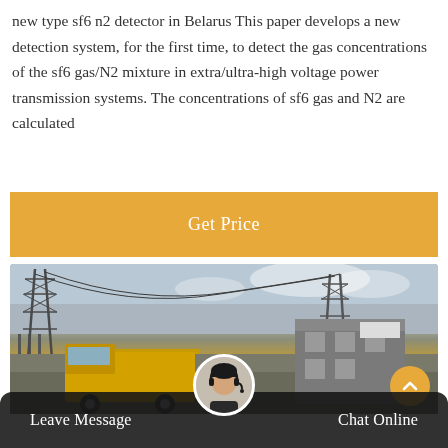new type sf6 n2 detector in Belarus This paper develops a new detection system, for the first time, to detect the gas concentrations of the sf6 gas/N2 mixture in extra/ultra-high voltage power transmission systems. The concentrations of sf6 gas and N2 are calculated
Get Price
[Figure (photo): Outdoor industrial electrical substation or power transmission facility with large metal lattice towers and power lines, a yellow vehicle or truck in the foreground, and a building on the right. Sky is overcast.]
Leave Message
Chat Online